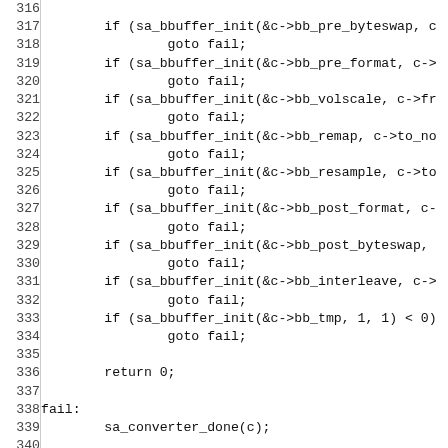[Figure (other): Source code listing in monospace font, lines 316–345, showing C code with sa_bbuffer_init calls, goto fail, return 0, fail label, sa_converter_done, return SA_ERROR_OOM, closing brace, and void sa_converter_done function definition.]